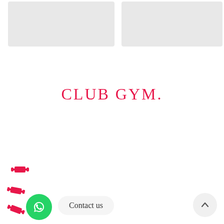[Figure (photo): Two gray placeholder image boxes side by side at the top of the page]
CLUB GYM.
[Figure (illustration): Pink dumbbell emoji icons stacked vertically on the left side]
[Figure (illustration): Green WhatsApp button (circular) with WhatsApp logo]
Contact us
[Figure (illustration): Scroll-to-top button (circular, light gray) with upward chevron arrow, bottom right corner]